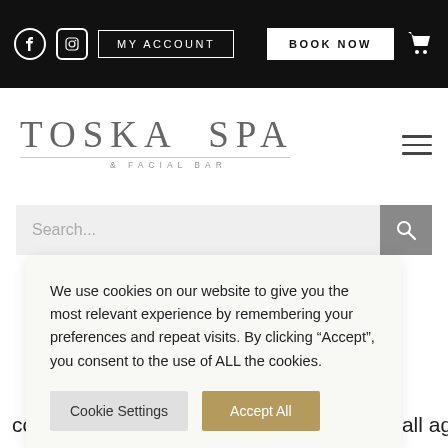MY ACCOUNT | BOOK NOW | Social icons | Cart
TOSKA SPA & FACIAL BAR
Search...
We use cookies on our website to give you the most relevant experience by remembering your preferences and repeat visits. By clicking “Accept”, you consent to the use of ALL the cookies.
t-procedure formulas oviding confidence and reassurance to women of all ages,